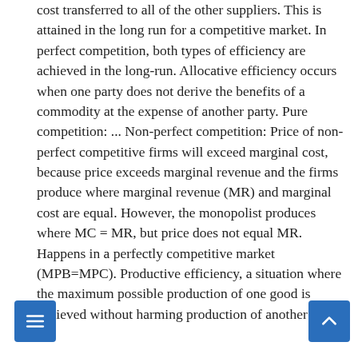cost transferred to all of the other suppliers. This is attained in the long run for a competitive market. In perfect competition, both types of efficiency are achieved in the long-run. Allocative efficiency occurs when one party does not derive the benefits of a commodity at the expense of another party. Pure competition: ... Non-perfect competition: Price of non-perfect competitive firms will exceed marginal cost, because price exceeds marginal revenue and the firms produce where marginal revenue (MR) and marginal cost are equal. However, the monopolist produces where MC = MR, but price does not equal MR. Happens in a perfectly competitive market (MPB=MPC). Productive efficiency, a situation where the maximum possible production of one good is achieved without harming production of another good,